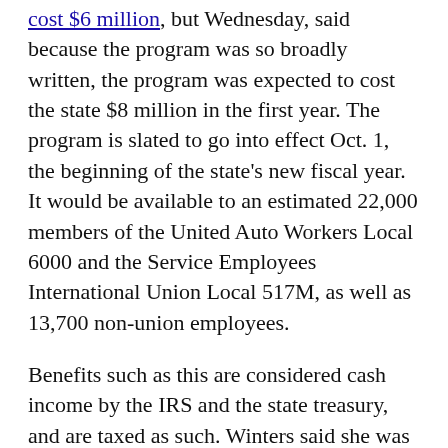cost $6 million, but Wednesday, said because the program was so broadly written, the program was expected to cost the state $8 million in the first year. The program is slated to go into effect Oct. 1, the beginning of the state's new fiscal year. It would be available to an estimated 22,000 members of the United Auto Workers Local 6000 and the Service Employees International Union Local 517M, as well as 13,700 non-union employees.
Benefits such as this are considered cash income by the IRS and the state treasury, and are taxed as such. Winters said she was unsure if the cost offsets from the increased tax revenues from the benefit extension was included in the estimates, but she said the increased tax liability for the state as an employer was factored into the cost. Employers pay a portion of employment